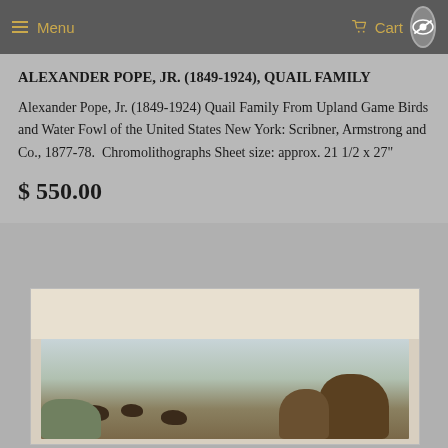Menu  Cart
ALEXANDER POPE, JR. (1849-1924), QUAIL FAMILY
Alexander Pope, Jr. (1849-1924) Quail Family From Upland Game Birds and Water Fowl of the United States New York: Scribner, Armstrong and Co., 1877-78.  Chromolithographs Sheet size: approx. 21 1/2 x 27"
$ 550.00
[Figure (photo): Chromolithograph artwork showing quail birds in a natural upland setting with trees and landscape in the background]